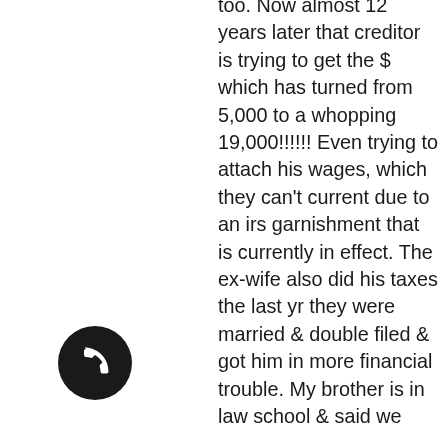too. Now almost 12 years later that creditor is trying to get the $ which has turned from 5,000 to a whopping 19,000!!!!!! Even trying to attach his wages, which they can't current due to an irs garnishment that is currently in effect. The ex-wife also did his taxes the last yr they were married & double filed & got him in more financial trouble. My brother is in law school & said we could possibly sue her for part of the community debt & maybe some of the tax debt she got him into. My boyfriend said the judge left the community debt reserved in the divorce, so I guess my question is "is there a time limit or a statue of limitations on debt that is reserved in a 2006/2007 divorce?" We could hear from y'all it...
[Figure (other): Phone call button - circular black button with white phone handset icon]